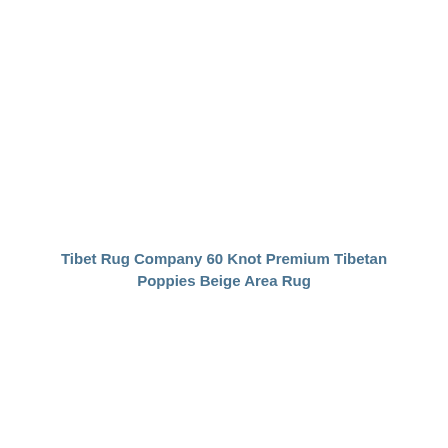Tibet Rug Company 60 Knot Premium Tibetan Poppies Beige Area Rug